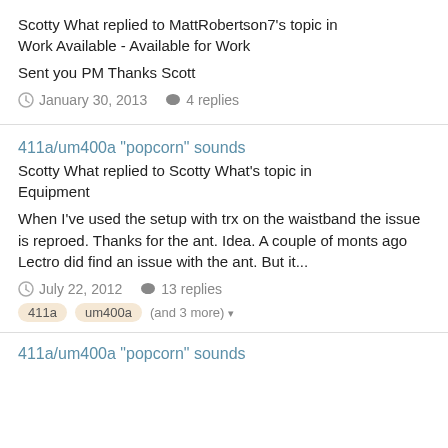Scotty What replied to MattRobertson7's topic in Work Available - Available for Work
Sent you PM Thanks Scott
January 30, 2013  4 replies
411a/um400a "popcorn" sounds
Scotty What replied to Scotty What's topic in Equipment
When I've used the setup with trx on the waistband the issue is reproed. Thanks for the ant. Idea. A couple of monts ago Lectro did find an issue with the ant. But it...
July 22, 2012  13 replies
411a  um400a  (and 3 more)
411a/um400a "popcorn" sounds